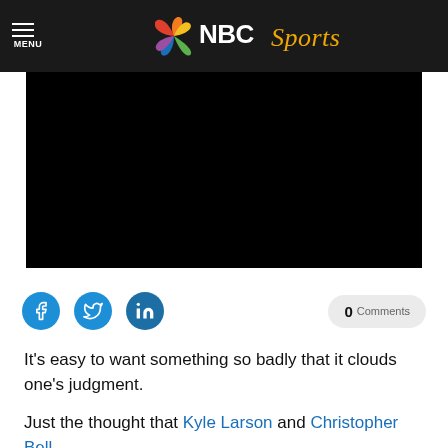MENU | NBC Sports
[Figure (screenshot): Black video player placeholder]
[Figure (screenshot): Social sharing icons: Facebook, Twitter, LinkedIn, and 0 Comments button]
It’s easy to want something so badly that it clouds one’s judgment.
Just the thought that Kyle Larson and Christopher Bell